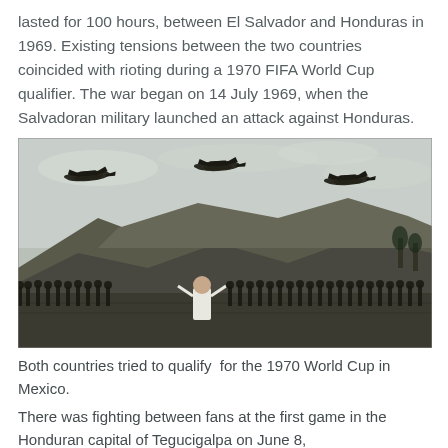lasted for 100 hours, between El Salvador and Honduras in 1969. Existing tensions between the two countries coincided with rioting during a 1970 FIFA World Cup qualifier. The war began on 14 July 1969, when the Salvadoran military launched an attack against Honduras.
[Figure (photo): Black and white historical photograph showing three military aircraft flying over hills, with soldiers marching in the foreground and a figure in a white shirt watching from behind.]
Both countries tried to qualify  for the 1970 World Cup in Mexico.
There was fighting between fans at the first game in the Honduran capital of Tegucigalpa on June 8,